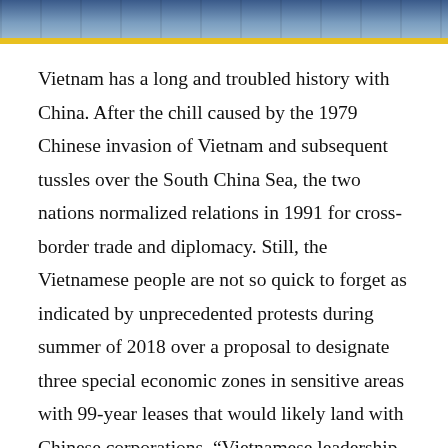[Figure (photo): Photograph of group of people, partially visible at the top of the page, with a yellow horizontal bar below the image.]
Vietnam has a long and troubled history with China. After the chill caused by the 1979 Chinese invasion of Vietnam and subsequent tussles over the South China Sea, the two nations normalized relations in 1991 for cross-border trade and diplomacy. Still, the Vietnamese people are not so quick to forget as indicated by unprecedented protests during summer of 2018 over a proposal to designate three special economic zones in sensitive areas with 99-year leases that would likely land with Chinese corporations. “Vietnamese leadership today walks a tightrope of balancing official condemnation of Chinese actions in the South China Sea with a pragmatic approach to trade and investment cooperation,” explains journalist and filmmaker Tom Fawthrop. “June’s mass protests reflected sentiment that Vietnamese people no longer trust their government to achieve the right balance with Chinese investment projects often tainted